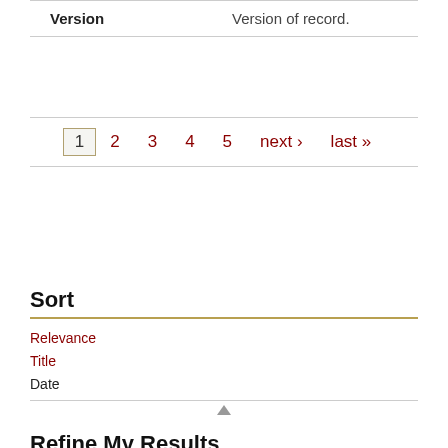| Version | Version of record. |
| --- | --- |
1  2  3  4  5  next ›  last »
Sort
Relevance
Title
Date
Refine My Results